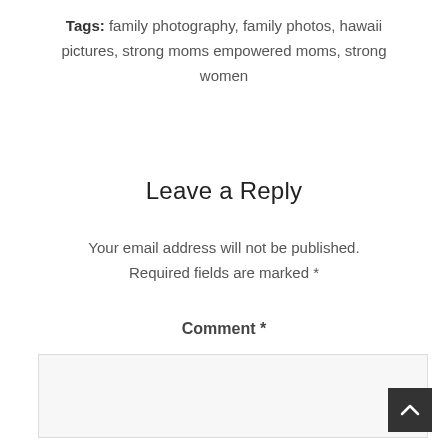Tags: family photography, family photos, hawaii pictures, strong moms empowered moms, strong women
Leave a Reply
Your email address will not be published. Required fields are marked *
Comment *